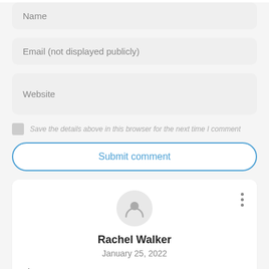Name
Email (not displayed publicly)
Website
Save the details above in this browser for the next time I comment
Submit comment
[Figure (illustration): User avatar icon inside a grey circle]
Rachel Walker
January 25, 2022
nice